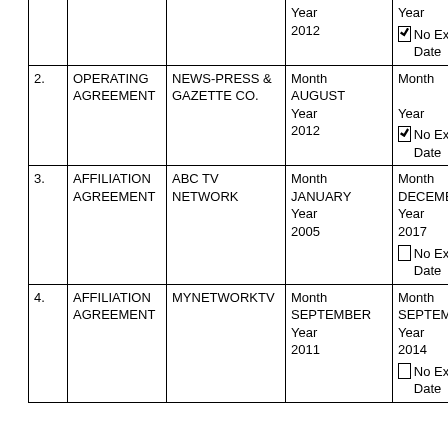| # | Agreement Type | Party | Effective Date | Expiration Date |
| --- | --- | --- | --- | --- |
|  |  |  | Year 2012 | Year [checked] No Expiration Date |
| 2. | OPERATING AGREEMENT | NEWS-PRESS & GAZETTE CO. | Month AUGUST Year 2012 | Month Year [checked] No Expiration Date |
| 3. | AFFILIATION AGREEMENT | ABC TV NETWORK | Month JANUARY Year 2005 | Month DECEMBER Year 2017 [ ] No Expiration Date |
| 4. | AFFILIATION AGREEMENT | MYNETWORKTV | Month SEPTEMBER Year 2011 | Month SEPTEMBER Year 2014 [ ] No Expiration Date |